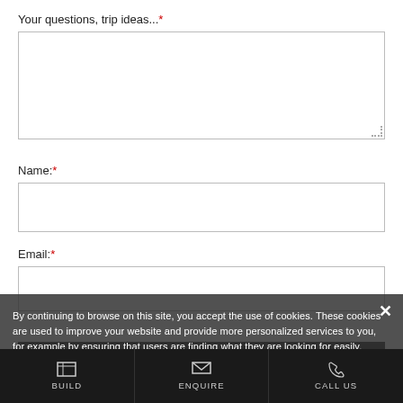Your questions, trip ideas...*
Name:*
Email:*
By continuing to browse on this site, you accept the use of cookies. These cookies are used to improve your website and provide more personalized services to you, for example by ensuring that users are finding what they are looking for easily.
SEND
BUILD   ENQUIRE   CALL US